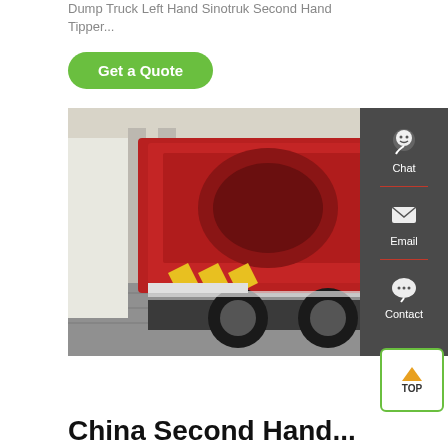Dump Truck Left Hand Sinotruk Second Hand Tipper...
Get a Quote
[Figure (photo): Red rear-loading garbage/compactor truck parked outdoors near a building, side and rear view showing the compactor body with yellow chevron markings, multiple rear axles visible.]
Chat
Email
Contact
TOP
China Second Hand...